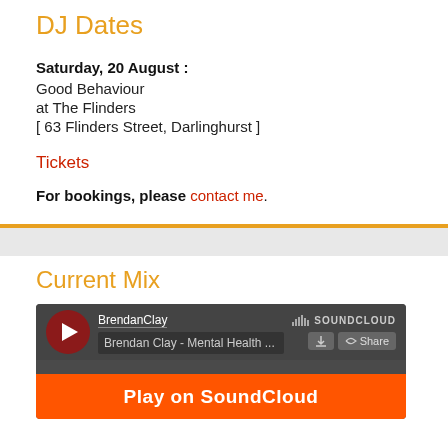DJ Dates
Saturday, 20 August :
Good Behaviour
at The Flinders
[ 63 Flinders Street, Darlinghurst ]
Tickets
For bookings, please contact me.
Current Mix
[Figure (screenshot): SoundCloud embedded player widget showing BrendanClay playing 'Brendan Clay - Mental Health ...' with a Play on SoundCloud orange button at the bottom]